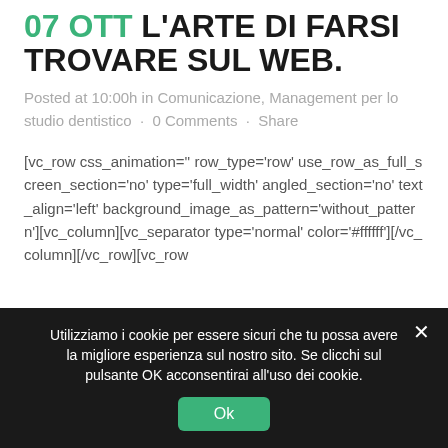07 OTT L'ARTE DI FARSI TROVARE SUL WEB.
Posted at 10:00h in Comunicazione, Management per lo studio dentistico · 0 Comments · Share
[vc_row css_animation='' row_type='row' use_row_as_full_screen_section='no' type='full_width' angled_section='no' text_align='left' background_image_as_pattern='without_pattern'][vc_column][vc_separator type='normal' color='#ffffff'][/vc_column][/vc_row][vc_row
Utilizziamo i cookie per essere sicuri che tu possa avere la migliore esperienza sul nostro sito. Se clicchi sul pulsante OK acconsentirai all'uso dei cookie.